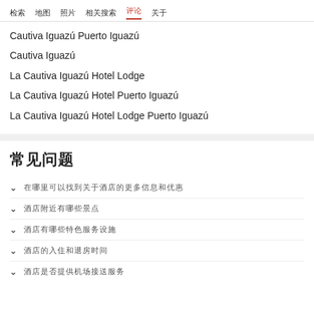检索 地图 照片 相关搜索 评论 关于
Cautiva Iguazú Puerto Iguazú
Cautiva Iguazú
La Cautiva Iguazú Hotel Lodge
La Cautiva Iguazú Hotel Puerto Iguazú
La Cautiva Iguazú Hotel Lodge Puerto Iguazú
常见问题
▾ 在哪里可以找到关于酒店的更多信息和优惠
▾ 酒店附近有哪些景点
▾ 酒店有哪些特色服务设施
▾ 酒店的入住和退房时间
▾ 酒店是否提供机场接送服务